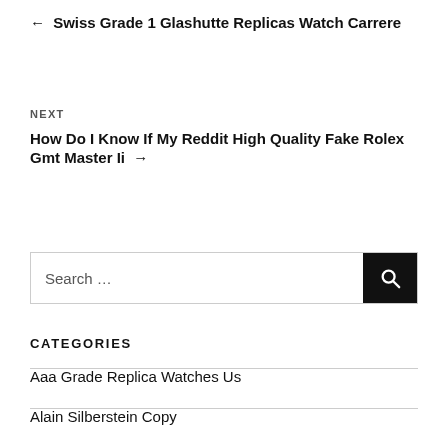← Swiss Grade 1 Glashutte Replicas Watch Carrere
NEXT
How Do I Know If My Reddit High Quality Fake Rolex Gmt Master Ii →
Search …
CATEGORIES
Aaa Grade Replica Watches Us
Alain Silberstein Copy